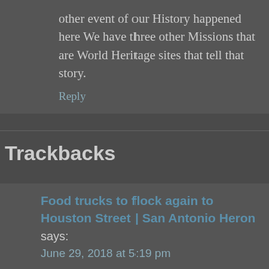other event of our History happened here We have three other Missions that are World Heritage sites that tell that story.
Reply
Trackbacks
Food trucks to flock again to Houston Street | San Antonio Heron says: June 29, 2018 at 5:19 pm [...] Alamo interpretive plan, which is currently going through a heated public process, recommends closing Houston Street from